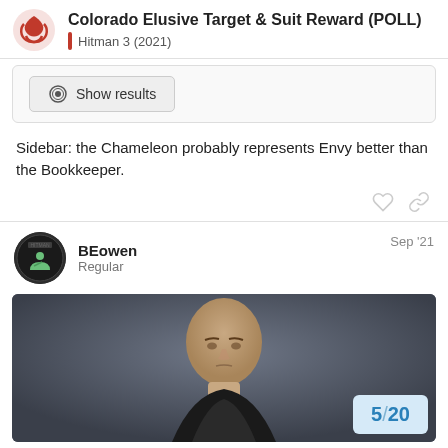Colorado Elusive Target & Suit Reward (POLL) | Hitman 3 (2021)
[Figure (other): Show results button inside a poll box]
Sidebar: the Chameleon probably represents Envy better than the Bookkeeper.
BEowen Regular Sep '21
[Figure (photo): Dark background with a bald man in a dark outfit looking directly at the camera. A page badge overlay shows 5/20.]